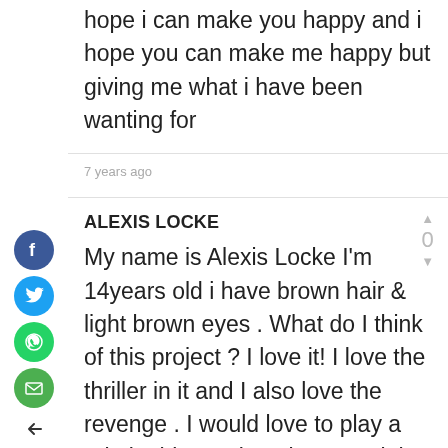hope i can make you happy and i hope you can make me happy but giving me what i have been wanting for
7 years ago
ALEXIS LOCKE
My name is Alexis Locke I'm 14years old i have brown hair & light brown eyes . What do I think of this project ? I love it! I love the thriller in it and I also love the revenge . I would love to play a role in this movie ! I know I might be young but I can definitely do a